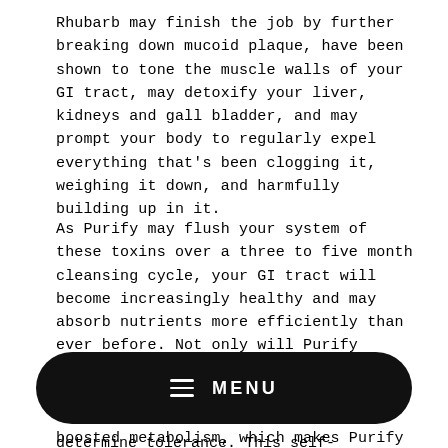Rhubarb may finish the job by further breaking down mucoid plaque, have been shown to tone the muscle walls of your GI tract, may detoxify your liver, kidneys and gall bladder, and may prompt your body to regularly expel everything that's been clogging it, weighing it down, and harmfully building up in it.
As Purify may flush your system of these toxins over a three to five month cleansing cycle, your GI tract will become increasingly healthy and may absorb nutrients more efficiently than ever before. Not only will Purify likely enhance the loss of pounds of mucoid plaque and other toxins, a highly functional GI tract means a boosted metabolism, which makes Purify the perfect match for any diet program or weight management system.
[Figure (other): Black rounded rectangle button with hamburger menu icon and text MENU in white]
determine tolerance. This self-regulating formula relies on